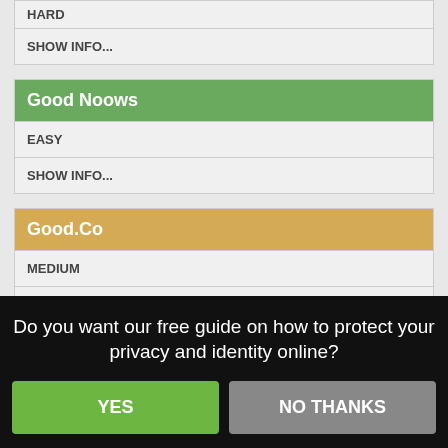HARD
SHOW INFO...
Good Noows
EASY
SHOW INFO...
Good.Co
MEDIUM
SHOW INFO...
Goodreads
Do you want our free guide on how to protect your privacy and identity online?
YES
NO THANKS